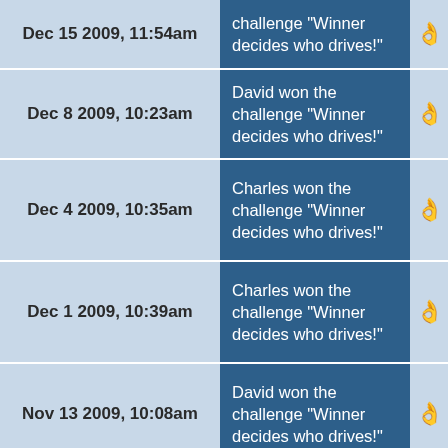Dec 15 2009, 11:54am | challenge "Winner decides who drives!"
Dec 8 2009, 10:23am | David won the challenge "Winner decides who drives!"
Dec 4 2009, 10:35am | Charles won the challenge "Winner decides who drives!"
Dec 1 2009, 10:39am | Charles won the challenge "Winner decides who drives!"
Nov 13 2009, 10:08am | David won the challenge "Winner decides who drives!"
Charles won the